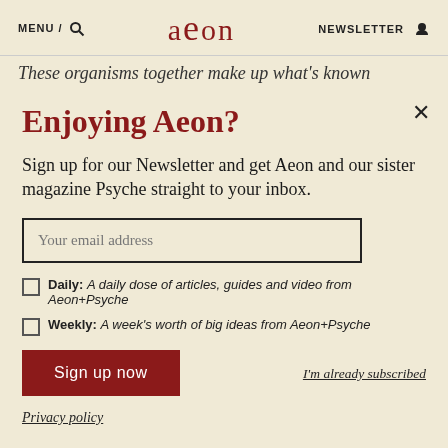MENU / [search icon] aeon NEWSLETTER [person icon]
These organisms together make up what's known
Enjoying Aeon?
Sign up for our Newsletter and get Aeon and our sister magazine Psyche straight to your inbox.
Your email address
Daily: A daily dose of articles, guides and video from Aeon+Psyche
Weekly: A week's worth of big ideas from Aeon+Psyche
Sign up now
I'm already subscribed
Privacy policy